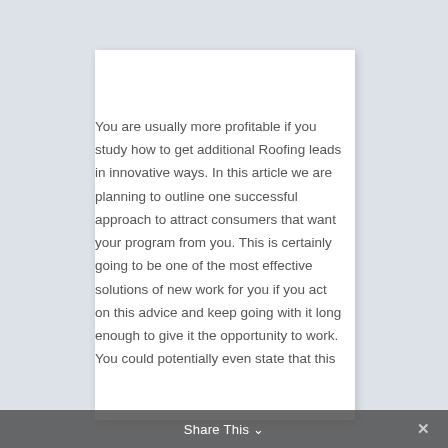You are usually more profitable if you study how to get additional Roofing leads in innovative ways. In this article we are planning to outline one successful approach to attract consumers that want your program from you. This is certainly going to be one of the most effective solutions of new work for you if you act on this advice and keep going with it long enough to give it the opportunity to work. You could potentially even state that this
Share This ∨  ✕